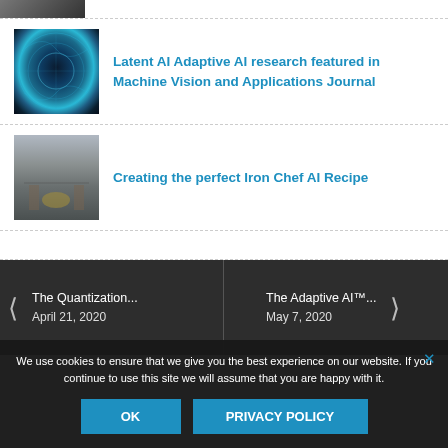[Figure (photo): Partial thumbnail image at top, dark colored]
Latent AI Adaptive AI research featured in Machine Vision and Applications Journal
Creating the perfect Iron Chef AI Recipe
The Quantization... April 21, 2020
The Adaptive AI™... May 7, 2020
We use cookies to ensure that we give you the best experience on our website. If you continue to use this site we will assume that you are happy with it.